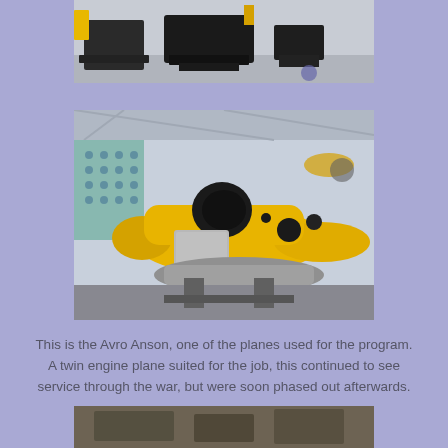[Figure (photo): Photo of dark/black equipment or machinery displayed in a museum setting, partially cropped at top]
[Figure (photo): Photo of a yellow Avro Anson aircraft on display in a museum hangar, showing the fuselage and engine area with black engine nacelle visible]
This is the Avro Anson, one of the planes used for the program. A twin engine plane suited for the job, this continued to see service through the war, but were soon phased out afterwards.
[Figure (photo): Partial photo cropped at bottom of page, content not fully visible]